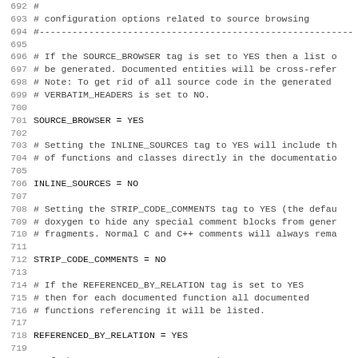692 #
693 # configuration options related to source browsing
694 #---...
695 #
696 # If the SOURCE_BROWSER tag is set to YES then a list of...
697 # be generated. Documented entities will be cross-referen...
698 # Note: To get rid of all source code in the generated...
699 # VERBATIM_HEADERS is set to NO.
700 (blank)
701 SOURCE_BROWSER         = YES
702 (blank)
703 # Setting the INLINE_SOURCES tag to YES will include th...
704 # of functions and classes directly in the documentation...
705 (blank)
706 INLINE_SOURCES          = NO
707 (blank)
708 # Setting the STRIP_CODE_COMMENTS tag to YES (the defau...
709 # doxygen to hide any special comment blocks from gener...
710 # fragments. Normal C and C++ comments will always rema...
711 (blank)
712 STRIP_CODE_COMMENTS     = NO
713 (blank)
714 # If the REFERENCED_BY_RELATION tag is set to YES
715 # then for each documented function all documented
716 # functions referencing it will be listed.
717 (blank)
718 REFERENCED_BY_RELATION = YES
719 (blank)
720 # If the REFERENCES_RELATION tag is set to YES
721 # then for each documented function all documented enti...
722 # called/used by that function will be listed.
723 (blank)
724 REFERENCES_RELATION     = YES